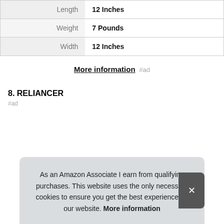|  |  |
| --- | --- |
| Length | 12 Inches |
| Weight | 7 Pounds |
| Width | 12 Inches |
More information #ad
8. RELIANCER
#ad
As an Amazon Associate I earn from qualifying purchases. This website uses the only necessary cookies to ensure you get the best experience on our website. More information